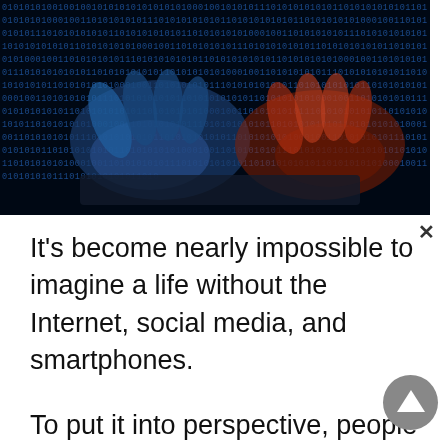[Figure (photo): Dark image of hands typing or hovering over a surface, overlaid with blue binary code (0s and 1s) suggesting a hacking or cybersecurity theme. An X close button appears at the top right.]
It's become nearly impossible to imagine a life without the Internet, social media, and smartphones.
To put it into perspective, people are online for around 24 hours a week today which is two times the amount of time they used to be online a